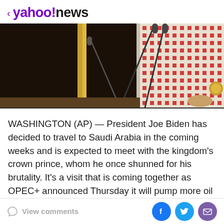< yahoo!news
[Figure (photo): A person in dark robes with red and white traditional Saudi headdress seated at a table with microphones]
WASHINGTON (AP) — President Joe Biden has decided to travel to Saudi Arabia in the coming weeks and is expected to meet with the kingdom's crown prince, whom he once shunned for his brutality. It's a visit that is coming together as OPEC+ announced Thursday it will pump more oil amid skyrocketing energy costs around
View comments